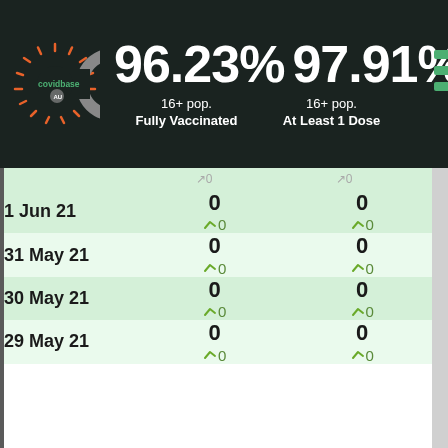[Figure (infographic): Covidbase AU logo with coronavirus graphic (circular C shape with spikes in orange/grey)]
96.23% 97.91%
16+ pop. Fully Vaccinated    16+ pop. At Least 1 Dose
| Date | Fully Vaccinated | At Least 1 Dose |
| --- | --- | --- |
| 1 Jun 21 | 0
↗0 | 0
↗0 |
| 31 May 21 | 0
↗0 | 0
↗0 |
| 30 May 21 | 0
↗0 | 0
↗0 |
| 29 May 21 | 0
↗0 | 0
↗0 |